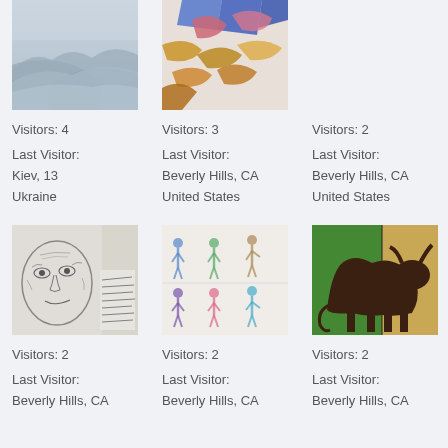[Figure (photo): Misty layered mountain landscape, blue-grey tones, partially cropped at top]
Visitors: 4
Last Visitor:
Kiev, 13
Ukraine
[Figure (photo): Abstract colorful painting with leaves/foliage, blue, red, gold tones, partially cropped at top]
Visitors: 3
Last Visitor:
Beverly Hills, CA
United States
Visitors: 2
Last Visitor:
Beverly Hills, CA
United States
[Figure (photo): Pencil drawing of an elderly face with handwritten text/notes beside it]
Visitors: 2
Last Visitor:
Beverly Hills, CA
[Figure (photo): Watercolor figures of people in various colors arranged in a grid pattern]
Visitors: 2
Last Visitor:
Beverly Hills, CA
[Figure (photo): Painting of a dark brown bull/cow silhouette against green and orange/tan background]
Visitors: 2
Last Visitor:
Beverly Hills, CA